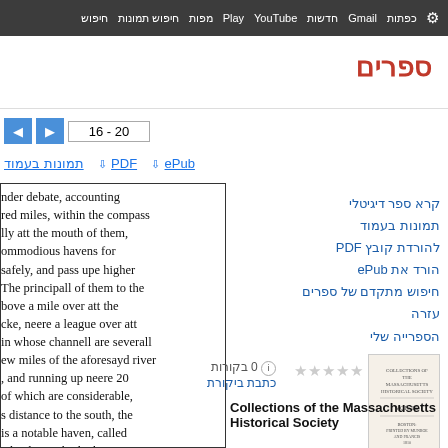חיפוש חיפוש תמונות מפות Play YouTube חדשות Gmail כפתות ⚙
ספרים
16 - 20
תמונות בעמוד  PDF  ePub
nder debate, accounting
red miles, within the compass
lly att the mouth of them,
ommodious havens for
safely, and pass upe higher
The principall of them to the
bove a mile over att the
cke, neere a league over att
in whose channell are severall
ew miles of the aforesayd river
, and running up neere 20
of which are considerable,
s distance to the south, the
is a notable haven, called
take theire abode there,
קרא ספר דיגיטלי
תמונות בעמוד
להורדת קובץ PDF
הורד את ePub
חיפוש מתקדם של ספרים
עזרה
הספרייה שלי
0 בקורות
כתבת ביקורת
Collections of the Massachusetts Historical Society